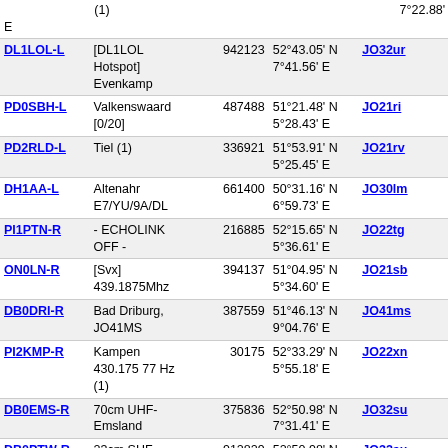| Callsign | Description | Node | Coordinates | Grid |
| --- | --- | --- | --- | --- |
| (1) |  |  | 7°22.88' E |  |
| DL1LOL-L | [DL1LOL Hotspot] Evenkamp | 942123 | 52°43.05' N 7°41.56' E | JO32ur |
| PD0SBH-L | Valkenswaard [0/20] | 487488 | 51°21.48' N 5°28.43' E | JO21ri |
| PD2RLD-L | Tiel (1) | 336921 | 51°53.91' N 5°25.45' E | JO21rv |
| DH1AA-L | Altenahr E7/YU/9A/DL | 661400 | 50°31.16' N 6°59.73' E | JO30lm |
| PI1PTN-R | - ECHOLINK OFF - | 216885 | 52°15.65' N 5°36.61' E | JO22tg |
| ON0LN-R | [Svx] 439.1875Mhz | 394137 | 51°04.95' N 5°34.60' E | JO21sb |
| DB0DRI-R | Bad Driburg, JO41MS | 387559 | 51°46.13' N 9°04.76' E | JO41ms |
| PI2KMP-R | Kampen 430.175 77 Hz (1) | 30175 | 52°33.29' N 5°55.18' E | JO22xn |
| DB0EMS-R | 70cm UHF-Emsland | 375836 | 52°50.98' N 7°31.41' E | JO32su |
| DB0PTW-R | 23cm SHF-Emsland | 912829 | 52°50.98' N 7°31.41' E | JO32su |
| DM0ZMI-L | Minden - 432,825 MHz | 21213 | 52°17.11' N 8°57.49' E | JO42lg |
| DH0FAA-L | [TETRA-Node] 434.7875MHz | 775764 | 51°32.71' N 9°24.26' E | JO41qn |
| PI3UTR-R | 145.575 -0.6MHz + 77Hz | 6824 | 52°00.63' N | JO22ma |